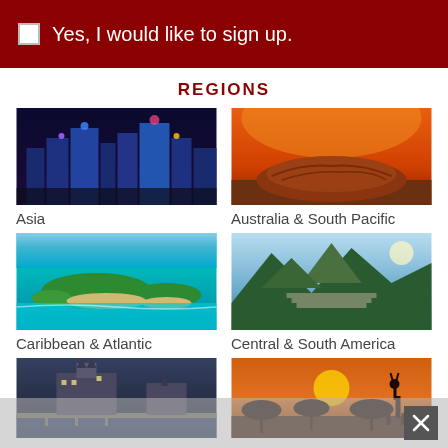Yes, I would like to sign up.
REGIONS
[Figure (photo): Night cityscape of Asia with illuminated skyscrapers]
Asia
[Figure (photo): Uluru / Ayers Rock at sunset in Australia]
Australia & South Pacific
[Figure (photo): Tropical Caribbean islands with turquoise water]
Caribbean & Atlantic
[Figure (photo): Machu Picchu mountain ruins in South America]
Central & South America
[Figure (photo): European castle/cathedral at dusk (partially visible)]
[Figure (photo): African savanna sunset with giraffe silhouette (partially visible)]